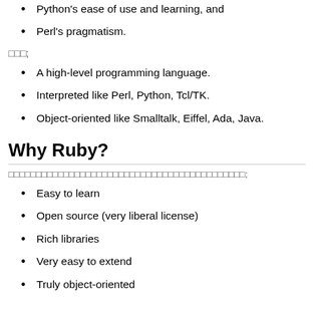Python's ease of use and learning, and
Perl's pragmatism.
□□□;
A high-level programming language.
Interpreted like Perl, Python, Tcl/TK.
Object-oriented like Smalltalk, Eiffel, Ada, Java.
Why Ruby?
□□□□□□□□□□□□□□□□□□□□□□□□□□□□□□□□□□□□□□□□□□□;
Easy to learn
Open source (very liberal license)
Rich libraries
Very easy to extend
Truly object-oriented